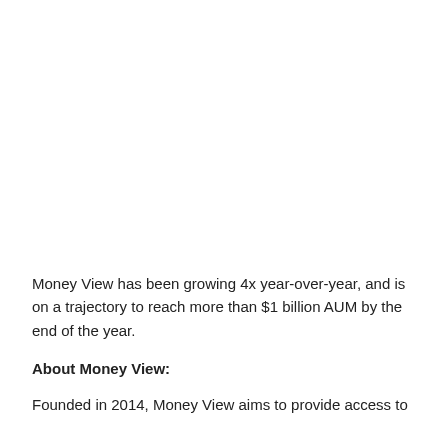Money View has been growing 4x year-over-year, and is on a trajectory to reach more than $1 billion AUM by the end of the year.
About Money View:
Founded in 2014, Money View aims to provide access to